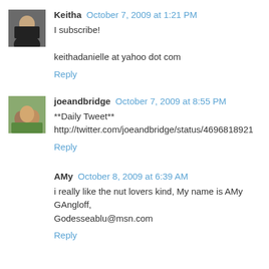Keitha  October 7, 2009 at 1:21 PM
I subscribe!

keithadanielle at yahoo dot com
Reply
joeandbridge  October 7, 2009 at 8:55 PM
**Daily Tweet**
http://twitter.com/joeandbridge/status/4696818921
Reply
AMy  October 8, 2009 at 6:39 AM
i really like the nut lovers kind, My name is AMy GAngloff, Godesseablu@msn.com
Reply